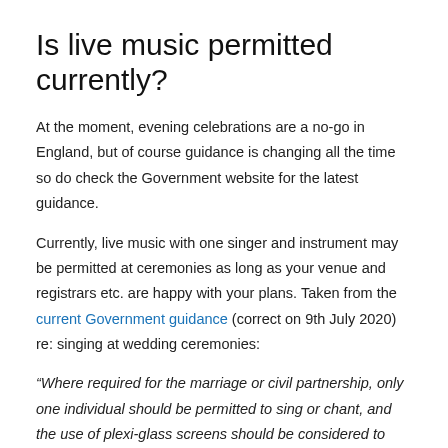Is live music permitted currently?
At the moment, evening celebrations are a no-go in England, but of course guidance is changing all the time so do check the Government website for the latest guidance.
Currently, live music with one singer and instrument may be permitted at ceremonies as long as your venue and registrars etc. are happy with your plans. Taken from the current Government guidance (correct on 9th July 2020) re: singing at wedding ceremonies:
“Where required for the marriage or civil partnership, only one individual should be permitted to sing or chant, and the use of plexi-glass screens should be considered to protect guests, as this will further prevent transmission and the screen can be easily cleaned”